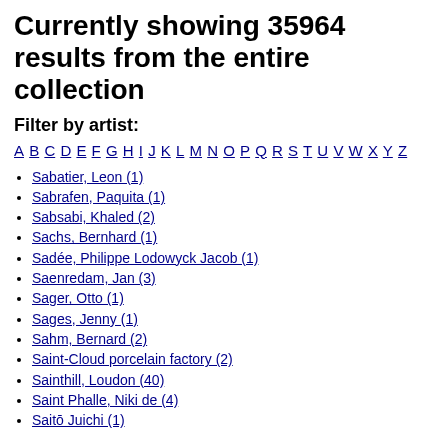Currently showing 35964 results from the entire collection
Filter by artist:
A B C D E F G H I J K L M N O P Q R S T U V W X Y Z
Sabatier, Leon (1)
Sabrafen, Paquita (1)
Sabsabi, Khaled (2)
Sachs, Bernhard (1)
Sadée, Philippe Lodowyck Jacob (1)
Saenredam, Jan (3)
Sager, Otto (1)
Sages, Jenny (1)
Sahm, Bernard (2)
Saint-Cloud porcelain factory (2)
Sainthill, Loudon (40)
Saint Phalle, Niki de (4)
Saitō Juichi (1)